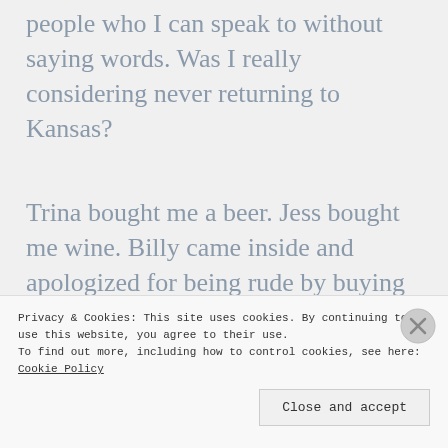people who I can speak to without saying words. Was I really considering never returning to Kansas?
Trina bought me a beer. Jess bought me wine. Billy came inside and apologized for being rude by buying me a rum and coke.
Privacy & Cookies: This site uses cookies. By continuing to use this website, you agree to their use.
To find out more, including how to control cookies, see here: Cookie Policy
Close and accept